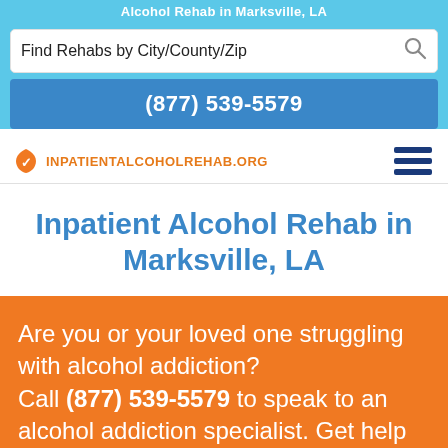Alcohol Rehab in Marksville, LA
Find Rehabs by City/County/Zip
(877) 539-5579
[Figure (logo): InpatientAlcoholRehab.org logo with orange shield icon and orange uppercase text]
Inpatient Alcohol Rehab in Marksville, LA
Are you or your loved one struggling with alcohol addiction? Call (877) 539-5579 to speak to an alcohol addiction specialist. Get help